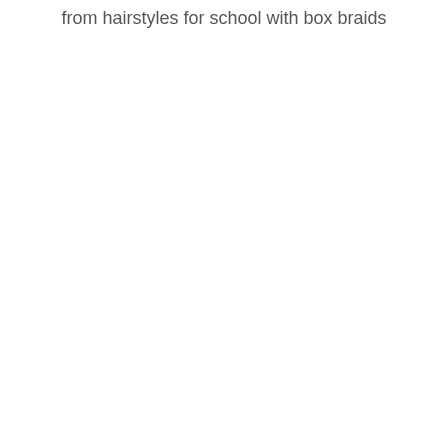from hairstyles for school with box braids